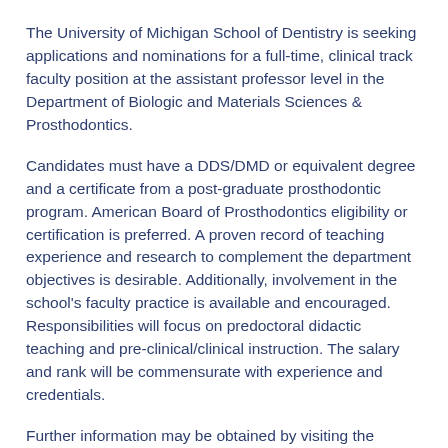The University of Michigan School of Dentistry is seeking applications and nominations for a full-time, clinical track faculty position at the assistant professor level in the Department of Biologic and Materials Sciences & Prosthodontics.
Candidates must have a DDS/DMD or equivalent degree and a certificate from a post-graduate prosthodontic program. American Board of Prosthodontics eligibility or certification is preferred. A proven record of teaching experience and research to complement the department objectives is desirable. Additionally, involvement in the school's faculty practice is available and encouraged. Responsibilities will focus on predoctoral didactic teaching and pre-clinical/clinical instruction. The salary and rank will be commensurate with experience and credentials.
Further information may be obtained by visiting the